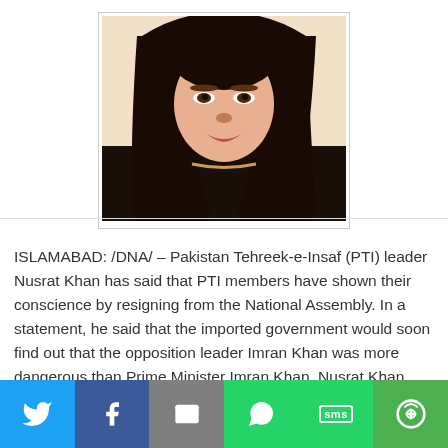[Figure (photo): Portrait photo of PTI leader Nusrat Khan, a woman with long dark hair wearing a dark outfit]
ISLAMABAD: /DNA/ – Pakistan Tehreek-e-Insaf (PTI) leader Nusrat Khan has said that PTI members have shown their conscience by resigning from the National Assembly. In a statement, he said that the imported government would soon find out that the opposition leader Imran Khan was more dangerous than Prime Minister Imran Khan. Nusrat Khan said that since independence, Pakistan's problems could not be solved because the interest of foreign powers were protected more than the country.  The PTI leader said that Imran Khan's only fault was that he gave priority to